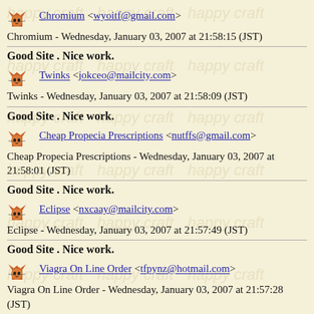Chromium <wyoitf@gmail.com>
Chromium - Wednesday, January 03, 2007 at 21:58:15 (JST)
Good Site . Nice work.
Twinks <jokceo@mailcity.com>
Twinks - Wednesday, January 03, 2007 at 21:58:09 (JST)
Good Site . Nice work.
Cheap Propecia Prescriptions <nutffs@gmail.com>
Cheap Propecia Prescriptions - Wednesday, January 03, 2007 at 21:58:01 (JST)
Good Site . Nice work.
Eclipse <nxcaay@mailcity.com>
Eclipse - Wednesday, January 03, 2007 at 21:57:49 (JST)
Good Site . Nice work.
Viagra On Line Order <tfpynz@hotmail.com>
Viagra On Line Order - Wednesday, January 03, 2007 at 21:57:28 (JST)